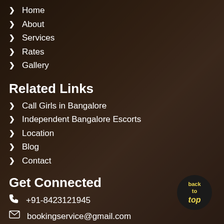Home
About
Services
Rates
Gallery
Related Links
Call Girls in Bangalore
Independent Bangalore Escorts
Location
Blog
Contact
Get Connected
+91-8423121945
bookingservice@gmail.com